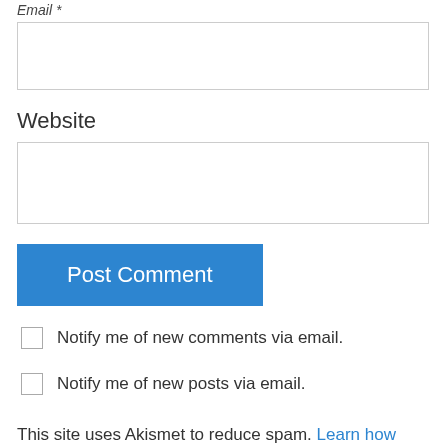Email *
(email input field)
Website
(website input field)
Post Comment
Notify me of new comments via email.
Notify me of new posts via email.
This site uses Akismet to reduce spam. Learn how your comment data is processed.
big al on June 9, 2014 at 5:38 pm